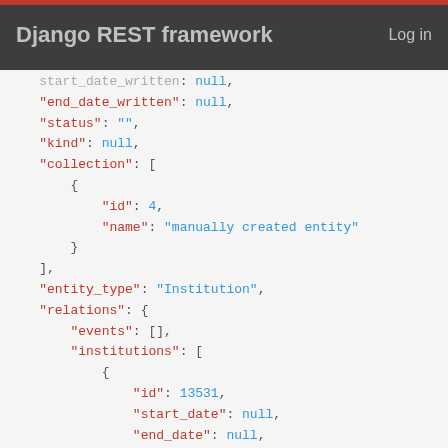Django REST framework  Log in
JSON code block showing REST API response with fields: start_date_written, end_date_written, status, kind, collection (with id:4, name:"manually created entity"), entity_type:"Institution", relations with events:[], institutions array with id:13531, start_date, end_date, start_date_written, end_date_written, relation_type with id:539, url starting with https://mpr.acdh.oeaw.ac.at/a